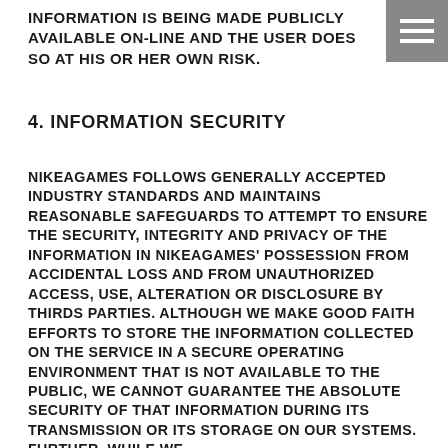INFORMATION IS BEING MADE PUBLICLY AVAILABLE ON-LINE AND THE USER DOES SO AT HIS OR HER OWN RISK.
4. INFORMATION SECURITY
NIKEAGAMES FOLLOWS GENERALLY ACCEPTED INDUSTRY STANDARDS AND MAINTAINS REASONABLE SAFEGUARDS TO ATTEMPT TO ENSURE THE SECURITY, INTEGRITY AND PRIVACY OF THE INFORMATION IN NIKEAGAMES' POSSESSION FROM ACCIDENTAL LOSS AND FROM UNAUTHORIZED ACCESS, USE, ALTERATION OR DISCLOSURE BY THIRDS PARTIES. ALTHOUGH WE MAKE GOOD FAITH EFFORTS TO STORE THE INFORMATION COLLECTED ON THE SERVICE IN A SECURE OPERATING ENVIRONMENT THAT IS NOT AVAILABLE TO THE PUBLIC, WE CANNOT GUARANTEE THE ABSOLUTE SECURITY OF THAT INFORMATION DURING ITS TRANSMISSION OR ITS STORAGE ON OUR SYSTEMS. FURTHER, WHILE WE